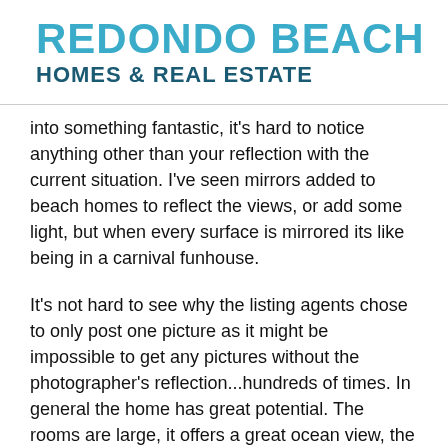[Figure (logo): Redondo Beach Homes & Real Estate logo — 'REDONDO BEACH' in large teal/cyan bold text, 'HOMES & REAL ESTATE' in smaller dark teal bold text below]
into something fantastic, it's hard to notice anything other than your reflection with the current situation.  I've seen mirrors added to beach homes to reflect the views, or add some light, but when every surface is mirrored its like being in a carnival funhouse.
It's not hard to see why the listing agents chose to only post one picture as it might be impossible to get any pictures without the photographer's reflection...hundreds of times.  In general the home has great potential.  The rooms are large, it offers a great ocean view, the kitchen living room have great light with sit down ocean views, but at the moment between the mirrors and the price, it's going to be a tough sell.  606 Esplanade #1 in South Redondo Beach